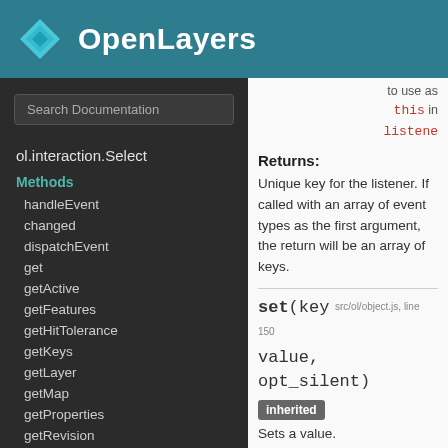OpenLayers
Search Documentation
ol.interaction.Select
Methods
handleEvent
changed
dispatchEvent
get
getActive
getFeatures
getHitTolerance
getKeys
getLayer
getMap
getProperties
getRevision
on
once
to use as
this in
listene
Returns:
Unique key for the listener. If called with an array of event types as the first argument, the return will be an array of keys.
set(key, value, opt_silent)
src/ol/object.js, line 150
inherited
Sets a value.
| Name | Type | Description |
| --- | --- | --- |
| key | string | Key name. |